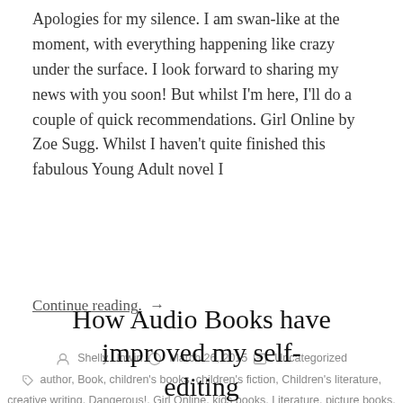Apologies for my silence. I am swan-like at the moment, with everything happening like crazy under the surface. I look forward to sharing my news with you soon! But whilst I'm here, I'll do a couple of quick recommendations. Girl Online by Zoe Sugg. Whilst I haven't quite finished this fabulous Young Adult novel I
Continue reading. →
By Shelly Unwin   March 26, 2015   Uncategorized
author, Book, children's books, children's fiction, Children's literature, creative writing, Dangerous!, Girl Online, kids books, Literature, picture books, Publishing, Tim Warnes, writing for children, Zoe Sugg
Leave a comment
How Audio Books have improved my self-editing